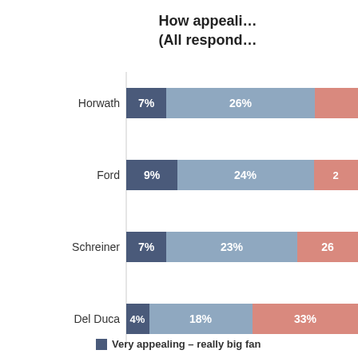[Figure (stacked-bar-chart): How appealing... (All respond…)]
■ Very appealing – really big fan